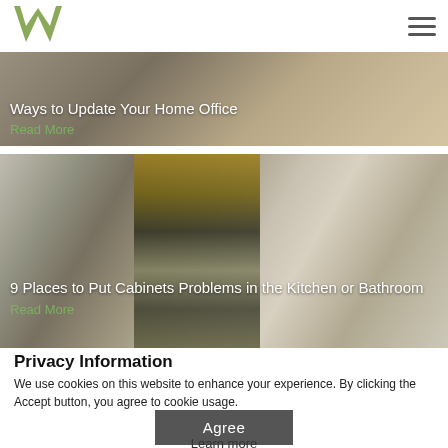W logo and hamburger menu
[Figure (photo): Partial view of a home office with kitchen drawers and a decorative pillow with tassels]
Ways to Update Your Home Office
Read More
[Figure (photo): Interior design photo showing white kitchen cabinets with dark countertop, a mirrored geometric backsplash bar area, and an open-plan living room with chandelier]
9 Places to Put Cabinets Problems in the Kitchen or Bathroom
Read More
Privacy Information
We use cookies on this website to enhance your experience. By clicking the Accept button, you agree to cookie usage.
Agree
Learn more